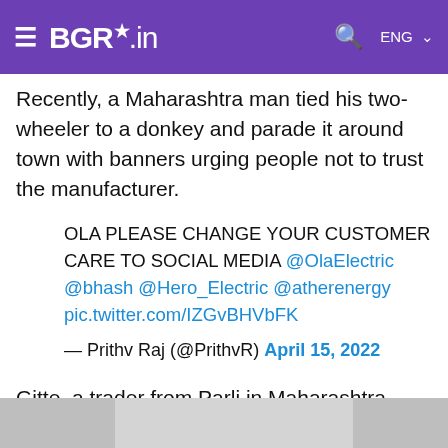BGR.in
Recently, a Maharashtra man tied his two-wheeler to a donkey and parade it around town with banners urging people not to trust the manufacturer.
OLA PLEASE CHANGE YOUR CUSTOMER CARE TO SOCIAL MEDIA @OlaElectric @bhash @Hero_Electric @atherenergy pic.twitter.com/IZGvBHVbFK
— Prithv Raj (@PrithvR) April 15, 2022
Gitte, a trader from Parli in Maharashtra, booked the scooter